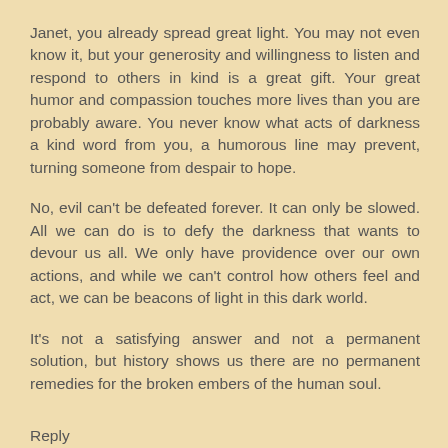Janet, you already spread great light. You may not even know it, but your generosity and willingness to listen and respond to others in kind is a great gift. Your great humor and compassion touches more lives than you are probably aware. You never know what acts of darkness a kind word from you, a humorous line may prevent, turning someone from despair to hope.
No, evil can't be defeated forever. It can only be slowed. All we can do is to defy the darkness that wants to devour us all. We only have providence over our own actions, and while we can't control how others feel and act, we can be beacons of light in this dark world.
It's not a satisfying answer and not a permanent solution, but history shows us there are no permanent remedies for the broken embers of the human soul.
Reply